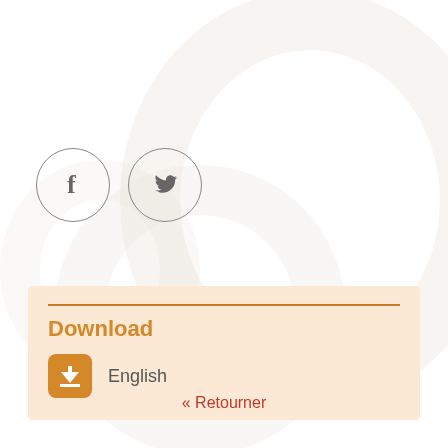[Figure (illustration): Facebook and Twitter social share icons as outlined circles with f and bird logos]
Download
English
« Retourner